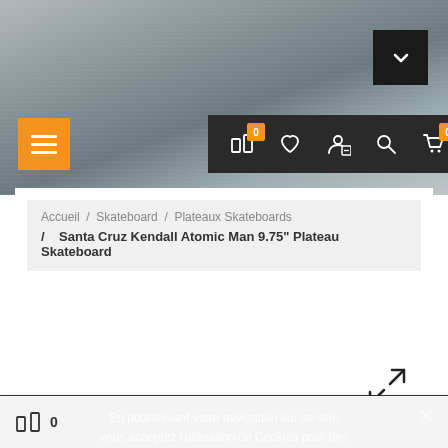[Figure (screenshot): E-commerce website header with blurred skateboard background photo, dark navigation bar with compare (0), wishlist, account, search, cart (0) icons, orange hamburger menu button, and dark top-right dropdown button]
Accueil / Skateboard / Plateaux Skateboards / Santa Cruz Kendall Atomic Man 9.75" Plateau Skateboard
[Figure (photo): Product image area for Santa Cruz Kendall Atomic Man 9.75" Plateau Skateboard with expand/fullscreen icon]
En poursuivant votre navigation sur ce site, vous acceptez l'utilisation de Cookies pour des statistiques de visites. En savoir plus.
Accepter
0